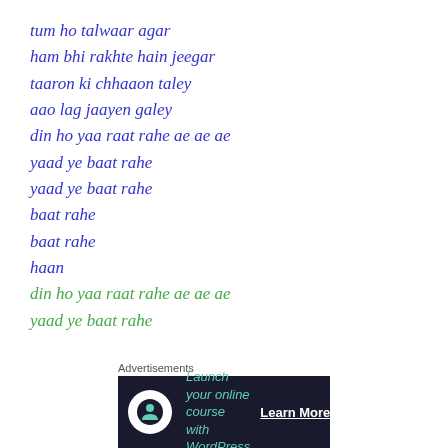tum ho talwaar agar
ham bhi rakhte hain jeegar
taaron ki chhaaon taley
aao lag jaayen galey
din ho yaa raat rahe ae ae ae
yaad ye baat rahe
yaad ye baat rahe
baat rahe
baat rahe
haan
din ho yaa raat rahe ae ae ae
yaad ye baat rahe
Advertisements
[Figure (infographic): Advertisement banner: Launch your online course with WordPress. Learn More button. Dark background with teal text and a white circular icon.]